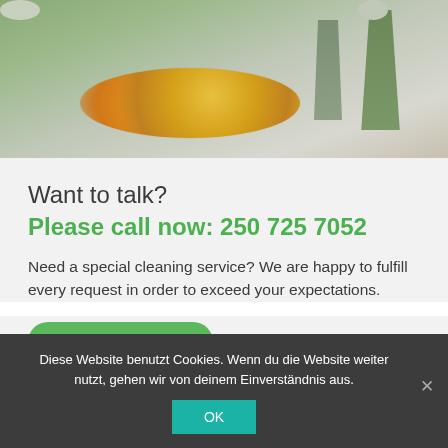[Figure (photo): A kitchen/living area interior photo showing a fruit bowl with oranges and green fruits on a table, with chairs in the background]
Want to talk?
Please call now: 250 725 7052
Need a special cleaning service? We are happy to fulfill every request in order to exceed your expectations.
[Figure (other): Green rounded button (partially visible)]
Diese Website benutzt Cookies. Wenn du die Website weiter nutzt, gehen wir von deinem Einverständnis aus.
OK